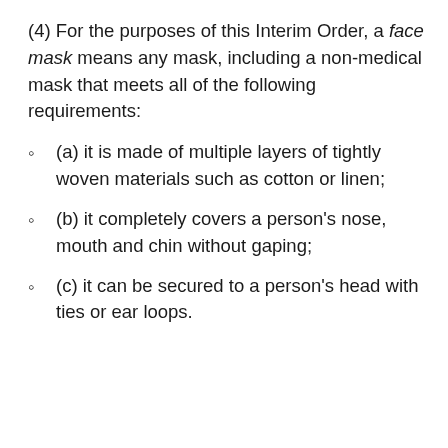(4) For the purposes of this Interim Order, a face mask means any mask, including a non-medical mask that meets all of the following requirements:
(a) it is made of multiple layers of tightly woven materials such as cotton or linen;
(b) it completely covers a person's nose, mouth and chin without gaping;
(c) it can be secured to a person's head with ties or ear loops.